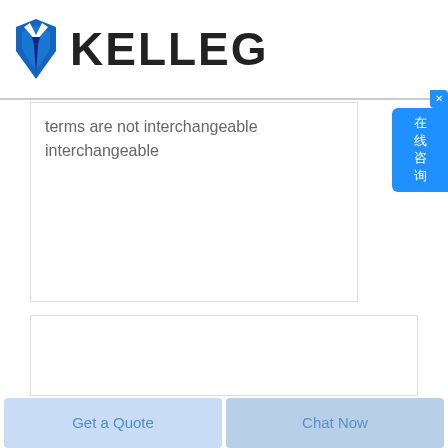KELLEG
terms are not interchangeable interchangeable
[Figure (photo): Two blue chisel/wedge tools with a KELLEG watermark. One has a flat chisel head and the other has a round connector point. Both are blue and shown diagonally.]
Get a Quote
Chat Now